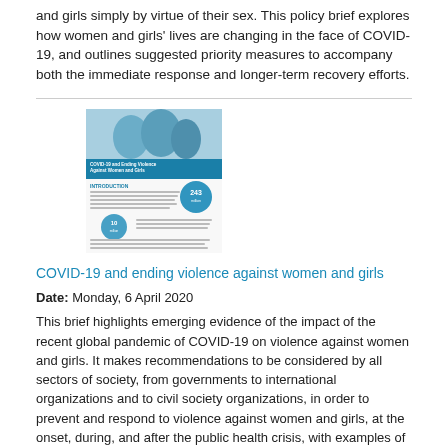and girls simply by virtue of their sex. This policy brief explores how women and girls' lives are changing in the face of COVID-19, and outlines suggested priority measures to accompany both the immediate response and longer-term recovery efforts.
[Figure (photo): Thumbnail image of a document titled 'COVID-19 and Ending Violence Against Women and Girls' showing a cover photo of women with text and infographic elements.]
COVID-19 and ending violence against women and girls
Date: Monday, 6 April 2020
This brief highlights emerging evidence of the impact of the recent global pandemic of COVID-19 on violence against women and girls. It makes recommendations to be considered by all sectors of society, from governments to international organizations and to civil society organizations, in order to prevent and respond to violence against women and girls, at the onset, during, and after the public health crisis, with examples of actions already taken.